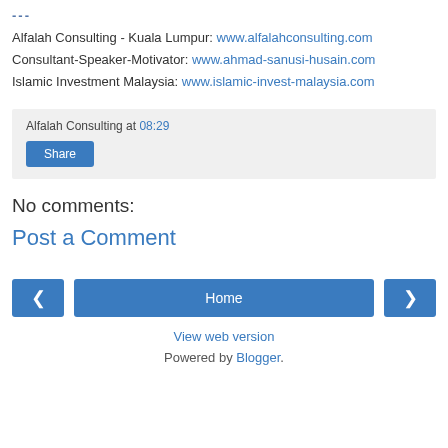---
Alfalah Consulting - Kuala Lumpur: www.alfalahconsulting.com
Consultant-Speaker-Motivator: www.ahmad-sanusi-husain.com
Islamic Investment Malaysia: www.islamic-invest-malaysia.com
Alfalah Consulting at 08:29
Share
No comments:
Post a Comment
‹  Home  ›
View web version
Powered by Blogger.